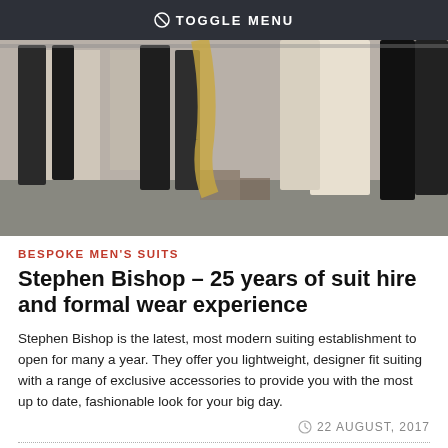TOGGLE MENU
[Figure (photo): Photo of a suit shop interior with dark suits hanging on rails, natural light coming through windows]
BESPOKE MEN'S SUITS
Stephen Bishop – 25 years of suit hire and formal wear experience
Stephen Bishop is the latest, most modern suiting establishment to open for many a year. They offer you lightweight, designer fit suiting with a range of exclusive accessories to provide you with the most up to date, fashionable look for your big day.
22 AUGUST, 2017
[Figure (photo): Close-up photo of a dark pinstripe suit jacket with buttons]